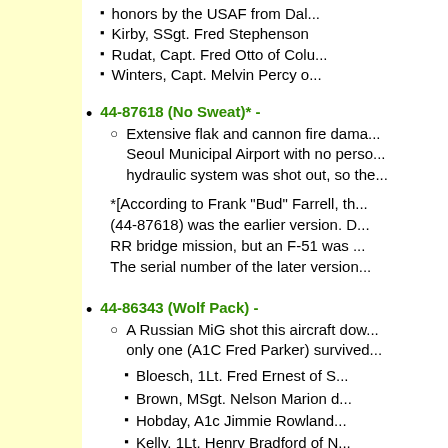honors by the USAF from Dal...
Kirby, SSgt. Fred Stephenson
Rudat, Capt. Fred Otto of Colu...
Winters, Capt. Melvin Percy o...
44-87618 (No Sweat)* -
Extensive flak and cannon fire dama... Seoul Municipal Airport with no perso... hydraulic system was shot out, so the...
*[According to Frank "Bud" Farrell, th... (44-87618) was the earlier version. D... RR bridge mission, but an F-51 was ... The serial number of the later version...
44-86343 (Wolf Pack) -
A Russian MiG shot this aircraft dow... only one (A1C Fred Parker) survived...
Bloesch, 1Lt. Fred Ernest of S...
Brown, MSgt. Nelson Marion d...
Hobday, A1c Jimmie Rowland...
Kelly, 1Lt. Henry Bradford of N...
Kelly, A1c James William of M...
LeBaron, A1c James Robert o...
Lowe, Capt. James Alfred Jr. d...
Peters, 1Lt. Spiro Joseph of R...
Phillis, 1Lt. William Key of Phi...